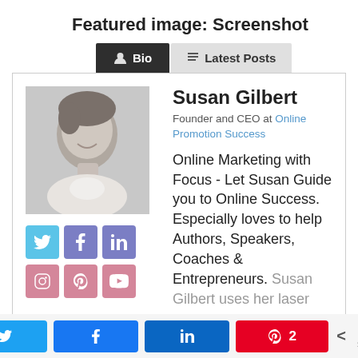Featured image: Screenshot
[Figure (screenshot): Screenshot of an author bio widget showing Bio and Latest Posts tabs. The Bio tab is active (dark background). Inside the widget: a black-and-white photo of Susan Gilbert, social media icons (Twitter, Facebook, LinkedIn, Instagram, Pinterest, YouTube), and bio text reading: Susan Gilbert, Founder and CEO at Online Promotion Success. Online Marketing with Focus - Let Susan Guide you to Online Success. Especially loves to help Authors, Speakers, Coaches & Entrepreneurs. Susan Gilbert uses her laser.]
[Figure (screenshot): Bottom share bar with Twitter, Facebook, LinkedIn, Pinterest share buttons, a share icon, count 116 SHARES]